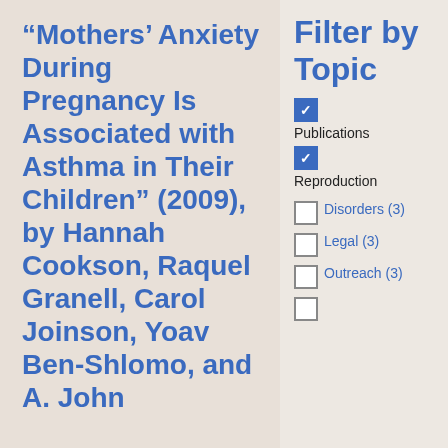“Mothers’ Anxiety During Pregnancy Is Associated with Asthma in Their Children” (2009), by Hannah Cookson, Raquel Granell, Carol Joinson, Yoav Ben-Shlomo, and A. John
Filter by Topic
[checked] Publications
[checked] Reproduction
[ ] Disorders (3)
[ ] Legal (3)
[ ] Outreach (3)